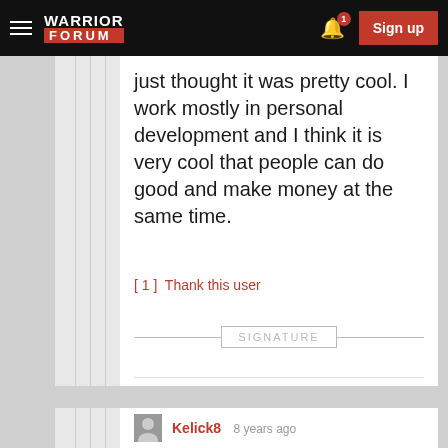Warrior Forum — Sign up
just thought it was pretty cool. I work mostly in personal development and I think it is very cool that people can do good and make money at the same time.
[ 1 ]  Thank this user
SIGNATURE
Kelick8  8 years ago